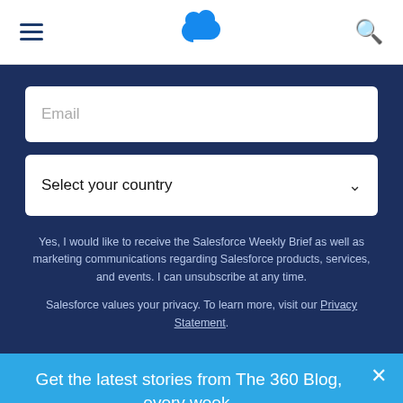[Figure (logo): Salesforce cloud logo in blue, centered in top navigation bar]
Email
Select your country
Yes, I would like to receive the Salesforce Weekly Brief as well as marketing communications regarding Salesforce products, services, and events. I can unsubscribe at any time.
Salesforce values your privacy. To learn more, visit our Privacy Statement.
Get the latest stories from The 360 Blog, every week.
Subscribe